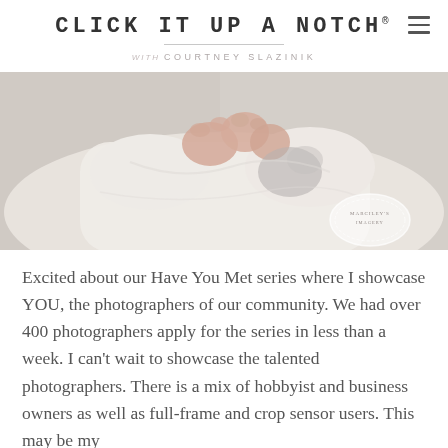CLICK IT UP A NOTCH® with COURTNEY SLAZINIK
[Figure (photo): Close-up photograph of a baby in a white outfit, hands raised near face, soft light background with a decorative watermark badge in lower right.]
Excited about our Have You Met series where I showcase YOU, the photographers of our community. We had over 400 photographers apply for the series in less than a week. I can't wait to showcase the talented photographers. There is a mix of hobbyist and business owners as well as full-frame and crop sensor users. This may be my